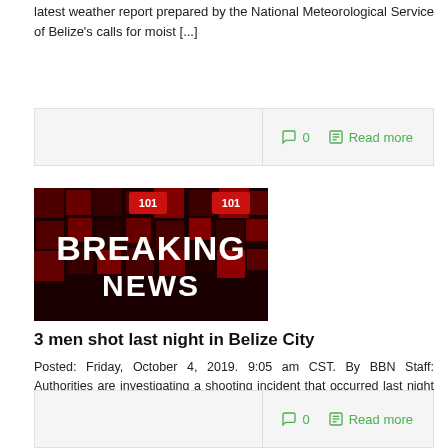latest weather report prepared by the National Meteorological Service of Belize's calls for moist [...]
0   Read more
[Figure (photo): Breaking News graphic with bold white text on dark red/black mosaic background]
3 men shot last night in Belize City
Posted: Friday, October 4, 2019. 9:05 am CST. By BBN Staff: Authorities are investigating a shooting incident that occurred last night in Belize City. Justin Richards, [...]
0   Read more